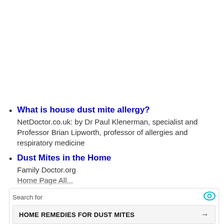What is house dust mite allergy?
NetDoctor.co.uk: by Dr Paul Klenerman, specialist and Professor Brian Lipworth, professor of allergies and respiratory medicine
Dust Mites in the Home
Family Doctor.org
[Figure (other): Search ad widget with eye icon, two search buttons: HOME REMEDIES FOR DUST MITES and REMEDIES FOR DUST MITES IN BED]